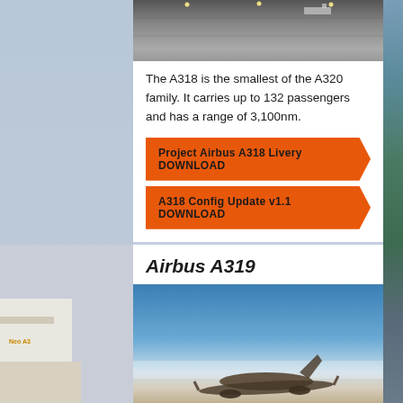[Figure (photo): Aircraft on runway/tarmac, aerial ground view of concrete apron]
The A318 is the smallest of the A320 family. It carries up to 132 passengers and has a range of 3,100nm.
Project Airbus A318 Livery DOWNLOAD
A318 Config Update v1.1 DOWNLOAD
Airbus A319
[Figure (photo): Airbus A319 aircraft in flight against blue sky background]